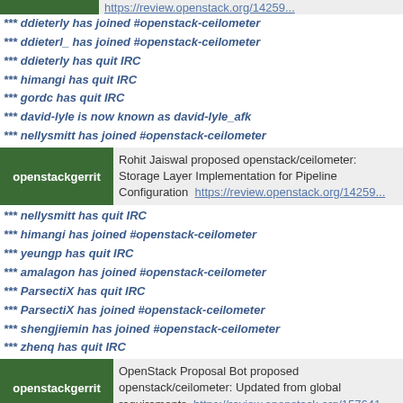(partial top) https://review.openstack.org/14259...
*** ddieterly has joined #openstack-ceilometer
*** ddieterl_ has joined #openstack-ceilometer
*** ddieterly has quit IRC
*** himangi has quit IRC
*** gordc has quit IRC
*** david-lyle is now known as david-lyle_afk
*** nellysmitt has joined #openstack-ceilometer
openstackgerrit | Rohit Jaiswal proposed openstack/ceilometer: Storage Layer Implementation for Pipeline Configuration https://review.openstack.org/14259...
*** nellysmitt has quit IRC
*** himangi has joined #openstack-ceilometer
*** yeungp has quit IRC
*** amalagon has joined #openstack-ceilometer
*** ParsectiX has quit IRC
*** ParsectiX has joined #openstack-ceilometer
*** shengjiemin has joined #openstack-ceilometer
*** zhenq has quit IRC
openstackgerrit | OpenStack Proposal Bot proposed openstack/ceilometer: Updated from global requirements https://review.openstack.org/157641...
*** nellysmitt has joined #openstack-ceilometer